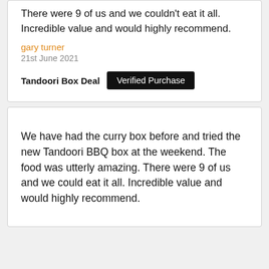There were 9 of us and we couldn't eat it all. Incredible value and would highly recommend.
gary turner
21st June 2021
Tandoori Box Deal  Verified Purchase
We have had the curry box before and tried the new Tandoori BBQ box at the weekend. The food was utterly amazing. There were 9 of us and we could eat it all. Incredible value and would highly recommend.